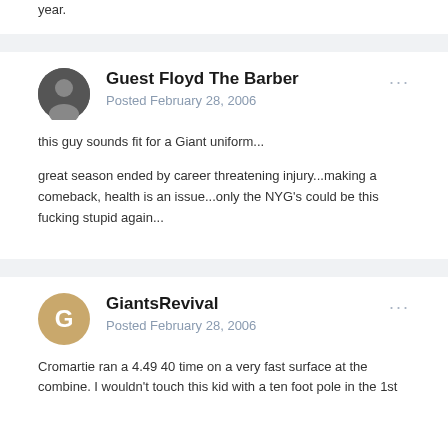year.
Guest Floyd The Barber
Posted February 28, 2006
this guy sounds fit for a Giant uniform...
great season ended by career threatening injury...making a comeback, health is an issue...only the NYG's could be this fucking stupid again...
GiantsRevival
Posted February 28, 2006
Cromartie ran a 4.49 40 time on a very fast surface at the combine. I wouldn't touch this kid with a ten foot pole in the 1st